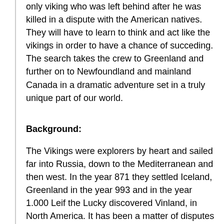only viking who was left behind after he was killed in a dispute with the American natives. They will have to learn to think and act like the vikings in order to have a chance of succeding. The search takes the crew to Greenland and further on to Newfoundland and mainland Canada in a dramatic adventure set in a truly unique part of our world.
Background:
The Vikings were explorers by heart and sailed far into Russia, down to the Mediterranean and then west. In the year 871 they settled Iceland, Greenland in the year 993 and in the year 1.000 Leif the Lucky discovered Vinland, in North America. It has been a matter of disputes ever since where Vinland was. In 1960 the main camp for exploration was discovered on the Northern tip of Newfoundland, fully matching descriptions in the Icelandic sagas. That discovery confirms at least some extent of accuracy in the sagas, as